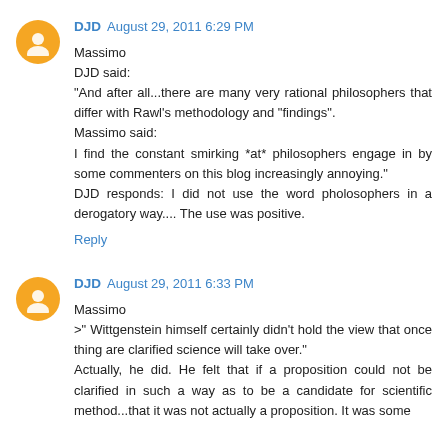DJD August 29, 2011 6:29 PM
Massimo
DJD said:
"And after all...there are many very rational philosophers that differ with Rawl's methodology and "findings".
Massimo said:
I find the constant smirking *at* philosophers engage in by some commenters on this blog increasingly annoying."
DJD responds: I did not use the word pholosophers in a derogatory way.... The use was positive.
Reply
DJD August 29, 2011 6:33 PM
Massimo
>" Wittgenstein himself certainly didn't hold the view that once thing are clarified science will take over."
Actually, he did. He felt that if a proposition could not be clarified in such a way as to be a candidate for scientific method...that it was not actually a proposition. It was some